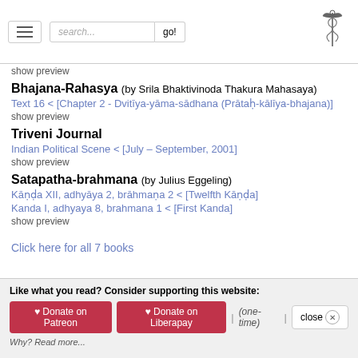search... go!
show preview
Bhajana-Rahasya (by Srila Bhaktivinoda Thakura Mahasaya)
Text 16 < [Chapter 2 - Dvitīya-yāma-sādhana (Prātaḥ-kālīya-bhajana)]
show preview
Triveni Journal
Indian Political Scene < [July – September, 2001]
show preview
Satapatha-brahmana (by Julius Eggeling)
Kāṇḍa XII, adhyāya 2, brāhmaṇa 2 < [Twelfth Kāṇḍa]
Kanda I, adhyaya 8, brahmana 1 < [First Kanda]
show preview
Click here for all 7 books
Like what you read? Consider supporting this website: ♥ Donate on Patreon | ♥ Donate on Liberapay | (one-time) | close Why? Read more...